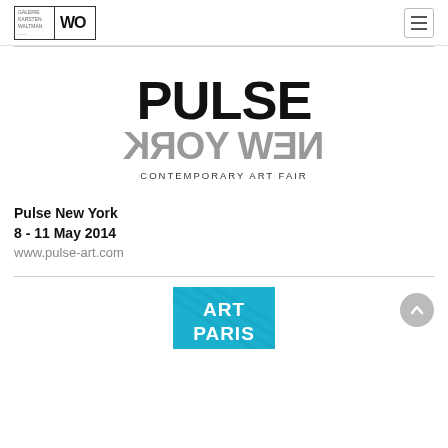[Figure (logo): Galerie Waltman / WO logo in a bordered box with two sections]
[Figure (logo): Hamburger menu icon (three horizontal lines) in a square border]
[Figure (logo): Pulse New York Contemporary Art Fair logo — PULSE in bold black, NEW YORK mirrored/reversed in grey below, CONTEMPORARY ART FAIR in small caps]
Pulse New York
8 - 11 May 2014
www.pulse-art.com
[Figure (logo): ART PARIS logo — teal/blue square with ART PARIS text in white, partially visible at bottom]